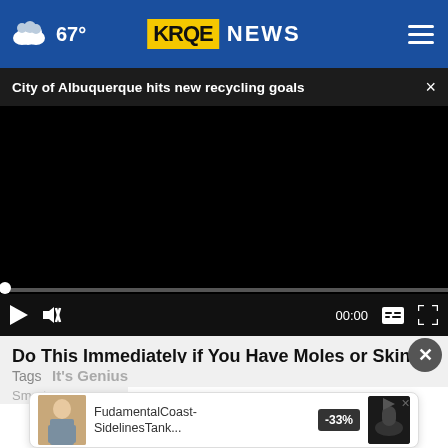67° KRQE NEWS
City of Albuquerque hits new recycling goals ×
[Figure (screenshot): Black video player with progress bar, play/pause button, mute button, 00:00 timestamp, captions and fullscreen controls]
Do This Immediately if You Have Moles or Skin Tags It's Genius
Smart
[Figure (other): Ad banner: FudamentalCoast- SidelinesTank... with -33% discount badge and product images]